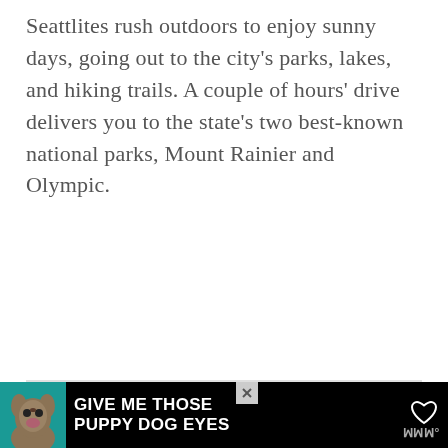Seattlites rush outdoors to enjoy sunny days, going out to the city's parks, lakes, and hiking trails. A couple of hours' drive delivers you to the state's two best-known national parks, Mount Rainier and Olympic.
[Figure (other): Advertisement placeholder box with the label ADVERTISEMENT in light gray uppercase text, with a heart/like button and a teal share button on the right side.]
[Figure (other): Black banner advertisement at the bottom of the page featuring a dog image on teal background, bold white text reading GIVE ME THOSE PUPPY DOG EYES, a close button, and a WeatherBug logo on the right.]